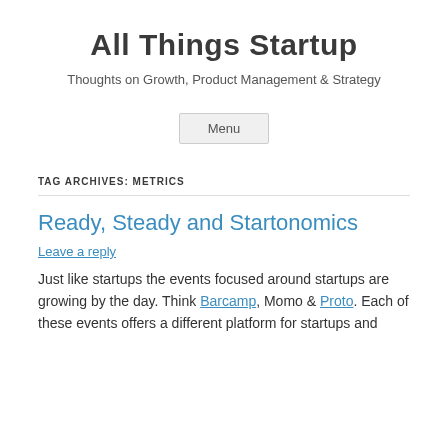All Things Startup
Thoughts on Growth, Product Management & Strategy
Menu
TAG ARCHIVES: METRICS
Ready, Steady and Startonomics
Leave a reply
Just like startups the events focused around startups are growing by the day. Think Barcamp, Momo & Proto. Each of these events offers a different platform for startups and